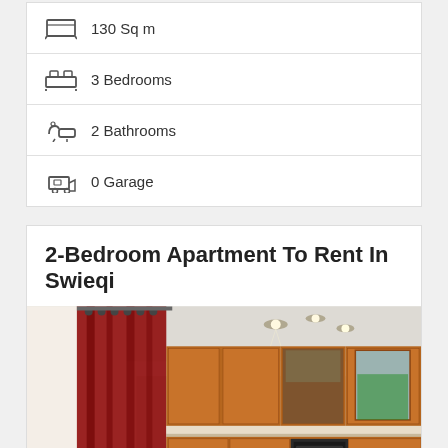130 Sq m
3 Bedrooms
2 Bathrooms
0 Garage
2-Bedroom Apartment To Rent In Swieqi
[Figure (photo): Interior photo of an apartment kitchen/dining area with wooden cabinets, red curtains, white ceiling with spotlights, and white dining chairs]